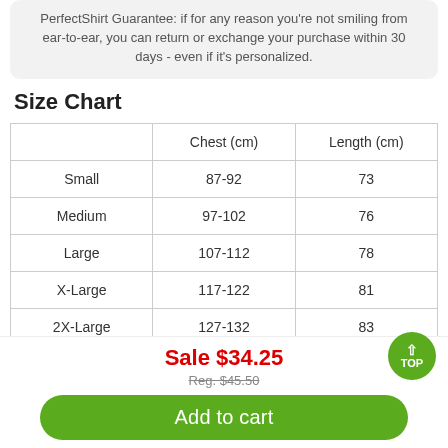PerfectShirt Guarantee: if for any reason you're not smiling from ear-to-ear, you can return or exchange your purchase within 30 days - even if it's personalized.
Size Chart
|  | Chest (cm) | Length (cm) |
| --- | --- | --- |
| Small | 87-92 | 73 |
| Medium | 97-102 | 76 |
| Large | 107-112 | 78 |
| X-Large | 117-122 | 81 |
| 2X-Large | 127-132 | 83 |
Sale $34.25
Reg. $45.50
Add to cart